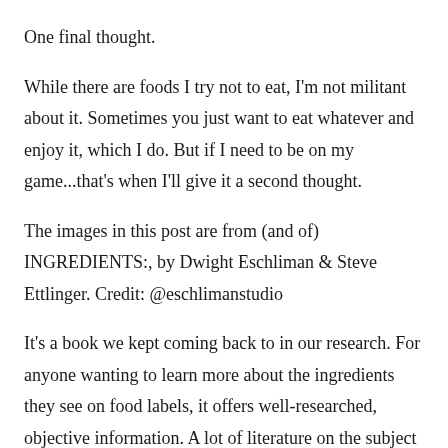One final thought.
While there are foods I try not to eat, I'm not militant about it. Sometimes you just want to eat whatever and enjoy it, which I do. But if I need to be on my game...that's when I'll give it a second thought.
The images in this post are from (and of) INGREDIENTS:, by Dwight Eschliman & Steve Ettlinger. Credit: @eschlimanstudio
It's a book we kept coming back to in our research. For anyone wanting to learn more about the ingredients they see on food labels, it offers well-researched, objective information. A lot of literature on the subject is highly technical and requires advanced knowledge to understand. This book is the opposite: clear, accessible and engaging